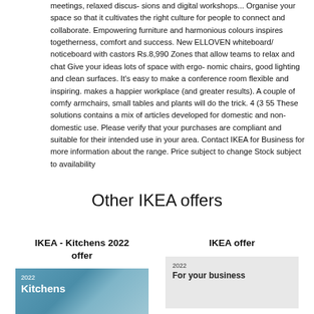meetings, relaxed discus- sions and digital workshops... Organise your space so that it cultivates the right culture for people to connect and collaborate. Empowering furniture and harmonious colours inspires togetherness, comfort and success. New ELLOVEN whiteboard/noticeboard with castors Rs.8,990 Zones that allow teams to relax and chat Give your ideas lots of space with ergo- nomic chairs, good lighting and clean surfaces. It's easy to make a conference room flexible and inspiring. makes a happier workplace (and greater results). A couple of comfy armchairs, small tables and plants will do the trick. 4 (3 55 These solutions contains a mix of articles developed for domestic and non-domestic use. Please verify that your purchases are compliant and suitable for their intended use in your area. Contact IKEA for Business for more information about the range. Price subject to change Stock subject to availability
Other IKEA offers
IKEA - Kitchens 2022 offer
[Figure (photo): IKEA Kitchens 2022 catalogue cover image with teal/blue background showing year 2022 and text Kitchens]
IKEA offer
[Figure (photo): IKEA For your business 2022 catalogue cover image with light grey background showing year 2022 and text For your business]